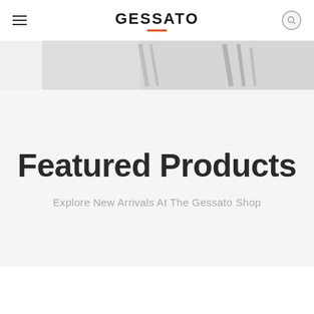GESSATO
[Figure (photo): Partial view of a banner image showing metallic/silver design elements on a light background]
Featured Products
Explore New Arrivals At The Gessato Shop